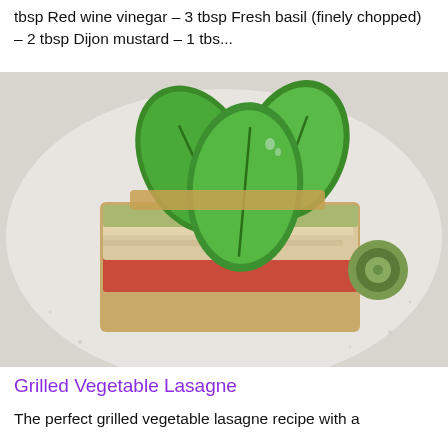tbsp Red wine vinegar – 3 tbsp Fresh basil (finely chopped) – 2 tbsp Dijon mustard – 1 tbs...
[Figure (photo): A serving of grilled vegetable lasagne on a white plate, layered with tomatoes, zucchini, and a white cheese filling, topped with fresh green basil leaves. A slice of zucchini is visible on the side of the plate.]
Grilled Vegetable Lasagne
The perfect grilled vegetable lasagne recipe with a